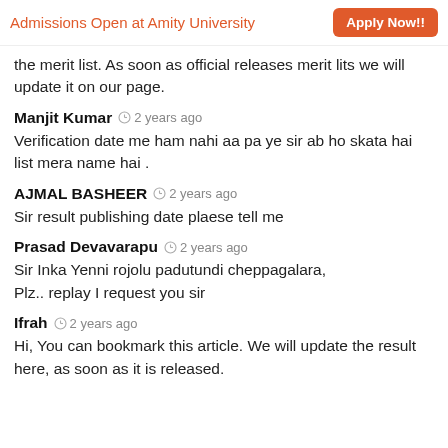Admissions Open at Amity University   Apply Now!!
the merit list. As soon as official releases merit lits we will update it on our page.
Manjit Kumar  2 years ago
Verification date me ham nahi aa pa ye sir ab ho skata hai list mera name hai .
AJMAL BASHEER  2 years ago
Sir result publishing date plaese tell me
Prasad Devavarapu  2 years ago
Sir Inka Yenni rojolu padutundi cheppagalara,
Plz.. replay I request you sir
Ifrah  2 years ago
Hi, You can bookmark this article. We will update the result here, as soon as it is released.